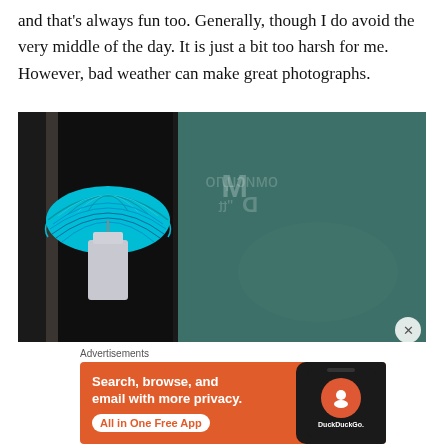and that's always fun too. Generally, though I do avoid the very middle of the day. It is just a bit too harsh for me. However, bad weather can make great photographs.
[Figure (photo): A person with a teal/turquoise striped umbrella standing in a dark doorway, with a large teal-colored wall or sign in the background showing reversed text.]
Advertisements
[Figure (infographic): DuckDuckGo advertisement. Orange background with white bold text: 'Search, browse, and email with more privacy.' White rounded button: 'All in One Free App' and a smartphone showing the DuckDuckGo logo with text 'DuckDuckGo.']